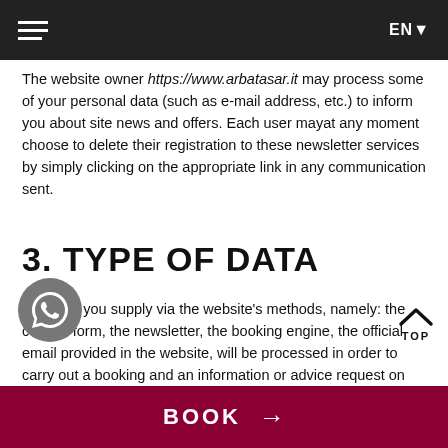EN▼
The website owner https://www.arbatasar.it may process some of your personal data (such as e-mail address, etc.) to inform you about site news and offers. Each user mayat any moment choose to delete their registration to these newsletter services by simply clicking on the appropriate link in any communication sent.
3. TYPE OF DATA
The data you supply via the website's methods, namely: the contact form, the newsletter, the booking engine, the official email provided in the website, will be processed in order to carry out a booking and an information or advice request on the site https://www.arbatasar.it